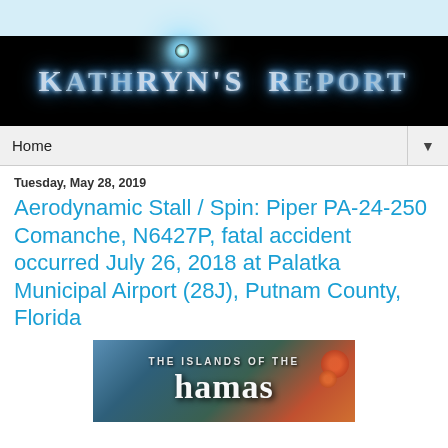[Figure (other): Light blue top bar banner area]
[Figure (logo): Kathryn's Report blog header banner with dark background and glowing text reading KATHRYN'S REPORT in metallic blue letters]
Home ▼
Tuesday, May 28, 2019
Aerodynamic Stall / Spin: Piper PA-24-250 Comanche, N6427P, fatal accident occurred July 26, 2018 at Palatka Municipal Airport (28J), Putnam County, Florida
[Figure (photo): Partial image showing text 'THE ISLANDS OF THE' and 'hamas' — appears to be a book or promotional cover with floral elements]